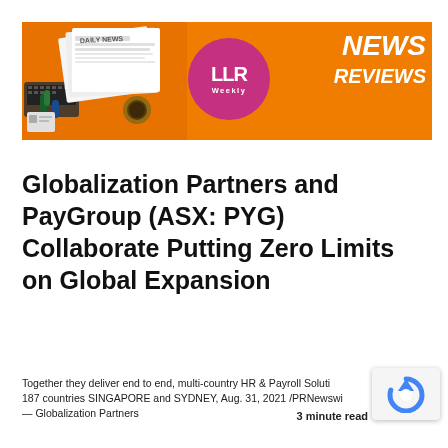[Figure (logo): HR Weekly News Reviews banner with orange background, pink circular logo with 'LLR Weekly' text, and 'NEWS REVIEWS' text in white italic on the right. Left side shows a newspaper illustration with coffee cup and microphones.]
Globalization Partners and PayGroup (ASX: PYG) Collaborate Putting Zero Limits on Global Expansion
Together they deliver end to end, multi-country HR & Payroll Solutions in 187 countries SINGAPORE and SYDNEY, Aug. 31, 2021 /PRNewswire/ — Globalization Partners...